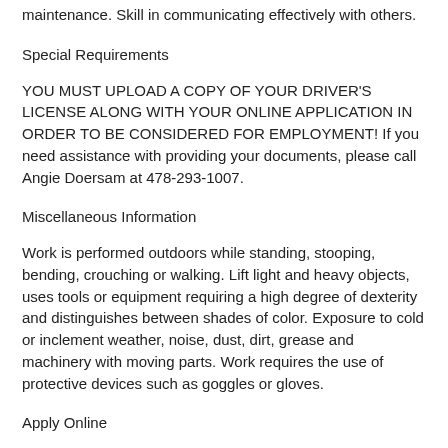maintenance. Skill in communicating effectively with others.
Special Requirements
YOU MUST UPLOAD A COPY OF YOUR DRIVER'S LICENSE ALONG WITH YOUR ONLINE APPLICATION IN ORDER TO BE CONSIDERED FOR EMPLOYMENT! If you need assistance with providing your documents, please call Angie Doersam at 478-293-1007.
Miscellaneous Information
Work is performed outdoors while standing, stooping, bending, crouching or walking. Lift light and heavy objects, uses tools or equipment requiring a high degree of dexterity and distinguishes between shades of color. Exposure to cold or inclement weather, noise, dust, dirt, grease and machinery with moving parts. Work requires the use of protective devices such as goggles or gloves.
Apply Online